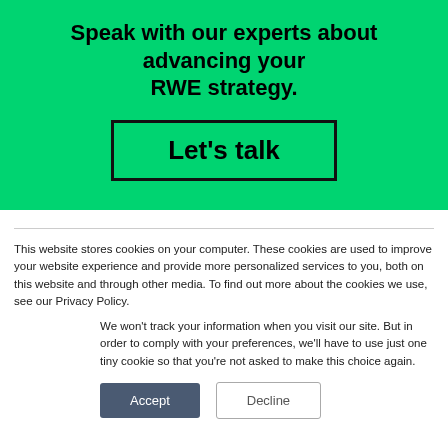Speak with our experts about advancing your RWE strategy.
[Figure (other): Button with black border and bold text: Let's talk]
This website stores cookies on your computer. These cookies are used to improve your website experience and provide more personalized services to you, both on this website and through other media. To find out more about the cookies we use, see our Privacy Policy.
We won't track your information when you visit our site. But in order to comply with your preferences, we'll have to use just one tiny cookie so that you're not asked to make this choice again.
Accept | Decline